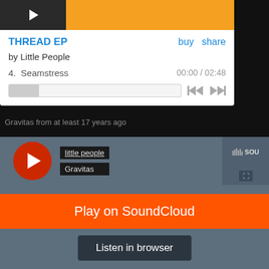[Figure (screenshot): Music player widget showing THREAD EP by Little People, track 4 Seamstress, time 00:00/02:48 with progress bar and playback controls]
THREAD EP
buy   share
by Little People
4.  Seamstress
00:00 / 02:48
Gravitas from at least 17 years ago
little people
Gravitas
SOU
Play on SoundCloud
Listen in browser